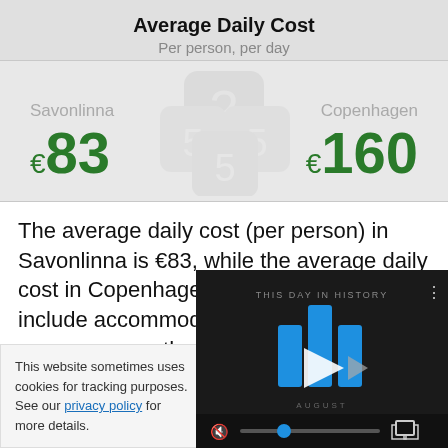Average Daily Cost
Per person, per day
| Savonlinna | Copenhagen |
| --- | --- |
| €83 | €160 |
The average daily cost (per person) in Savonlinna is €83, while the average daily cost in Copenhagen is €160. These costs include accommodation (assuming double occupancy, so the room), food, trans
This website sometimes uses cookies for tracking purposes. See our privacy policy for more details.
[Figure (screenshot): Video player overlay showing 'This Day in History' with blue bar chart logo, play button, and video controls bar with mute icon, progress slider, and fullscreen button.]